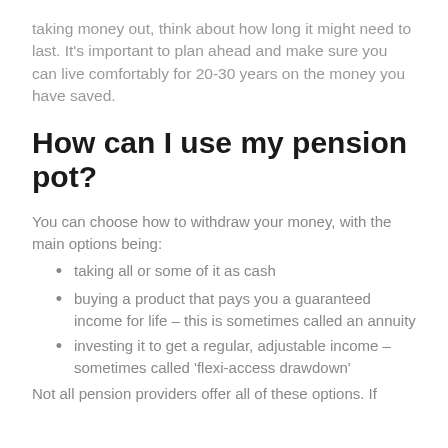taking money out, think about how long it might need to last. It's important to plan ahead and make sure you can live comfortably for 20-30 years on the money you have saved.
How can I use my pension pot?
You can choose how to withdraw your money, with the main options being:
taking all or some of it as cash
buying a product that pays you a guaranteed income for life – this is sometimes called an annuity
investing it to get a regular, adjustable income – sometimes called 'flexi-access drawdown'
Not all pension providers offer all of these options. If